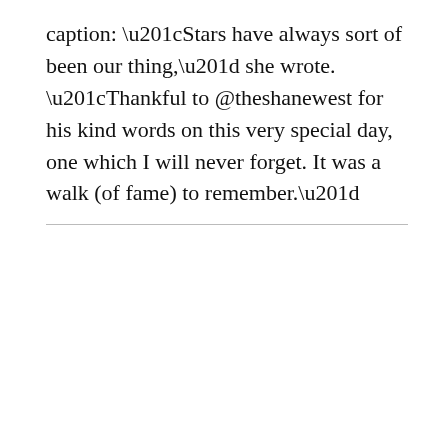caption: “Stars have always sort of been our thing,” she wrote. “Thankful to @theshanewest for his kind words on this very special day, one which I will never forget. It was a walk (of fame) to remember.”